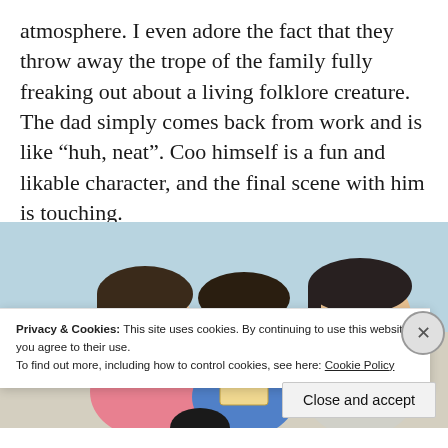atmosphere. I even adore the fact that they throw away the trope of the family fully freaking out about a living folklore creature. The dad simply comes back from work and is like “huh, neat”. Coo himself is a fun and likable character, and the final scene with him is touching.
[Figure (illustration): Anime-style illustration showing three children/people sticking out their tongues and making funny faces, in a warm indoor setting.]
Privacy & Cookies: This site uses cookies. By continuing to use this website, you agree to their use.
To find out more, including how to control cookies, see here: Cookie Policy
Close and accept